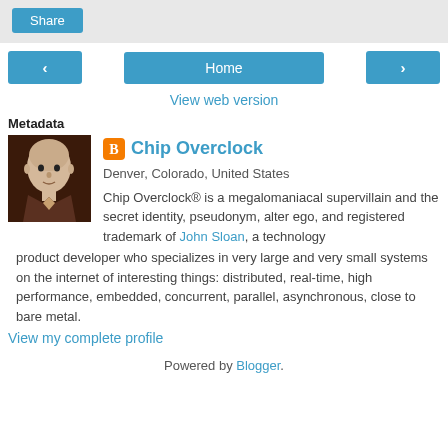[Figure (screenshot): Share button bar with light grey background]
[Figure (screenshot): Navigation bar with left arrow, Home button, and right arrow buttons in blue]
View web version
Metadata
[Figure (illustration): Profile photo of Chip Overclock - illustrated bald man in dark background]
Chip Overclock
Denver, Colorado, United States
Chip Overclock® is a megalomaniacal supervillain and the secret identity, pseudonym, alter ego, and registered trademark of John Sloan, a technology product developer who specializes in very large and very small systems on the internet of interesting things: distributed, real-time, high performance, embedded, concurrent, parallel, asynchronous, close to bare metal.
View my complete profile
Powered by Blogger.